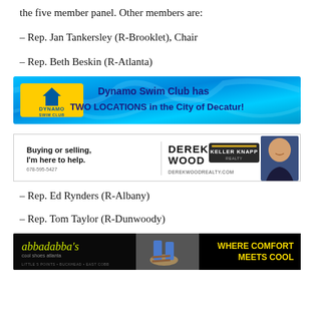the five member panel. Other members are:
– Rep. Jan Tankersley (R-Brooklet), Chair
– Rep. Beth Beskin (R-Atlanta)
[Figure (other): Dynamo Swim Club advertisement banner: blue background with lightning effects, Dynamo Swim Club logo on the left, text reads 'Dynamo Swim Club has TWO LOCATIONS in the City of Decatur!']
[Figure (other): Derek Wood / Keller Knapp Realty advertisement with text 'Buying or selling, I'm here to help.' phone 678-595-5427, DEREK WOOD | KELLER KNAPP logo, DEREKWOODREALTY.COM, and photo of Derek Wood.]
– Rep. Ed Rynders (R-Albany)
– Rep. Tom Taylor (R-Dunwoody)
[Figure (other): Abbadabba's Cool Shoes Atlanta advertisement: black background, yellow-green logo text 'abbadabba's cool shoes atlanta', photo of person's feet in sandals, yellow text 'WHERE COMFORT MEETS COOL', locations: Little 5 Points, Buckhead, East Cobb]